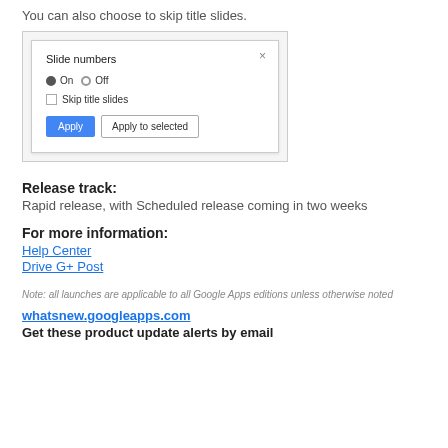You can also choose to skip title slides.
[Figure (screenshot): Dialog box showing 'Slide numbers' with On/Off radio buttons (On selected), a checkbox for 'Skip title slides', and two buttons: 'Apply' (blue) and 'Apply to selected' (outlined).]
Release track:
Rapid release, with Scheduled release coming in two weeks
For more information:
Help Center
Drive G+ Post
Note: all launches are applicable to all Google Apps editions unless otherwise noted
whatsnew.googleapps.com
Get these product update alerts by email